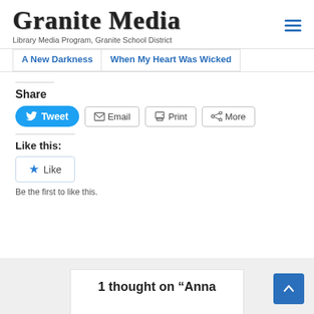Granite Media
Library Media Program, Granite School District
A New Darkness
When My Heart Was Wicked
Share
Tweet
Email
Print
More
Like this:
Like
Be the first to like this.
1 thought on “Anna